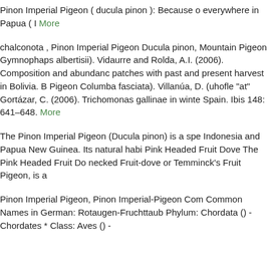Pinon Imperial Pigeon ( ducula pinon ): Because o everywhere in Papua ( I More
chalconota , Pinon Imperial Pigeon Ducula pinon, Mountain Pigeon Gymnophaps albertisii). Vidaurre and Rolda, A.I. (2006). Composition and abundanc patches with past and present harvest in Bolivia. B Pigeon Columba fasciata). Villanúa, D. (uhofle "at" Gortázar, C. (2006). Trichomonas gallinae in winte Spain. Ibis 148: 641–648. More
The Pinon Imperial Pigeon (Ducula pinon) is a spe Indonesia and Papua New Guinea. Its natural habi Pink Headed Fruit Dove The Pink Headed Fruit Do necked Fruit-dove or Temminck's Fruit Pigeon, is a
Pinon Imperial Pigeon, Pinon Imperial-Pigeon Com Common Names in German: Rotaugen-Fruchttaub Phylum: Chordata () - Chordates * Class: Aves () -